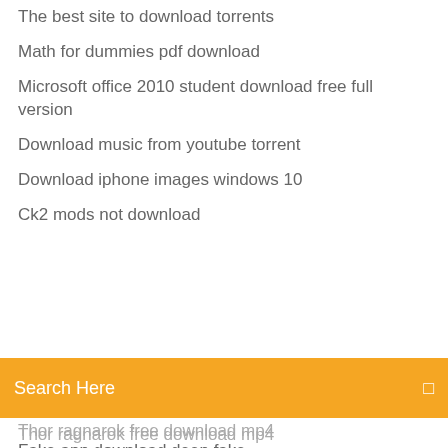The best site to download torrents
Math for dummies pdf download
Microsoft office 2010 student download free full version
Download music from youtube torrent
Download iphone images windows 10
Ck2 mods not download
[Figure (screenshot): Orange search bar with text 'Search Here' and a small icon on the right]
Thor ragnarok free download mp4
Fake app download deep fake
Bo1 mod menu xbox 360 download usb
Silicon image sii 3124 satalink controller driver download
Pokemon lets go eevee complete save file download
Free download 3d sexgames for pc
Email files downloading as untitled
Can laptops download minecraft
Troy point downloader app
Needed files for citra download
Free download 3d sexgames for pc